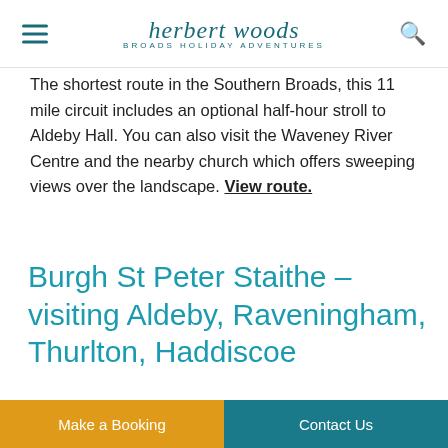herbert woods BROADS HOLIDAY ADVENTURES
The shortest route in the Southern Broads, this 11 mile circuit includes an optional half-hour stroll to Aldeby Hall. You can also visit the Waveney River Centre and the nearby church which offers sweeping views over the landscape. View route.
Burgh St Peter Staithe – visiting Aldeby, Raveningham, Thurlton, Haddiscoe
Last but not least, this 19-mile route gives you the
Make a Booking   Contact Us